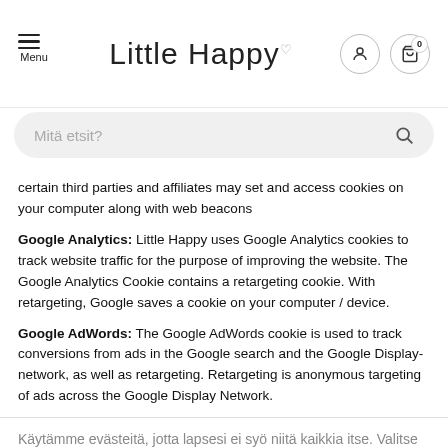Little Happy — Menu, search bar, user icon, cart (0)
certain third parties and affiliates may set and access cookies on your computer along with web beacons
Google Analytics: Little Happy uses Google Analytics cookies to track website traffic for the purpose of improving the website. The Google Analytics Cookie contains a retargeting cookie. With retargeting, Google saves a cookie on your computer / device.
Google AdWords: The Google AdWords cookie is used to track conversions from ads in the Google search and the Google Display-network, as well as retargeting. Retargeting is anonymous targeting of ads across the Google Display Network.
Käytämme evästeitä, jotta lapsesi ei syö niitä kaikkia itse. Valitse tavallinen hinta tai jäsenhinta ostoksesi yhteydessä. Lue lisää Little Happystä ja evästeistä täältä Lisätietoja
KYLLÄ SE ON SIISTIÄ